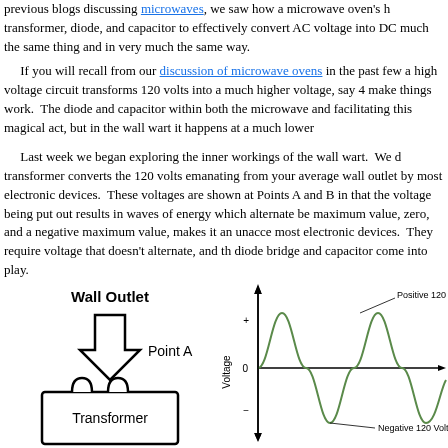previous blogs discussing microwaves, we saw how a microwave oven's h transformer, diode, and capacitor to effectively convert AC voltage into DC much the same thing and in very much the same way.
If you will recall from our discussion of microwave ovens in the past few a high voltage circuit transforms 120 volts into a much higher voltage, say 4 make things work. The diode and capacitor within both the microwave and facilitating this magical act, but in the wall wart it happens at a much lower
Last week we began exploring the inner workings of the wall wart. We d transformer converts the 120 volts emanating from your average wall outlet by most electronic devices. These voltages are shown at Points A and B in that the voltage being put out results in waves of energy which alternate be maximum value, zero, and a negative maximum value, makes it an unacce most electronic devices. They require voltage that doesn't alternate, and th diode bridge and capacitor come into play.
[Figure (engineering-diagram): Block diagram showing Wall Outlet at top with a downward arrow labeled Point A leading to a Transformer box at the bottom.]
[Figure (continuous-plot): Sinusoidal AC waveform chart with Voltage on y-axis showing alternating positive and negative peaks. Labels indicate Positive 120 Volts at top and Negative 120 Volts at bottom. The x-axis shows time with multiple cycles of a sine wave.]